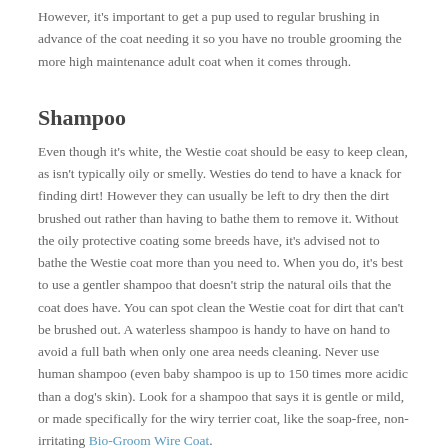However, it's important to get a pup used to regular brushing in advance of the coat needing it so you have no trouble grooming the more high maintenance adult coat when it comes through.
Shampoo
Even though it's white, the Westie coat should be easy to keep clean, as isn't typically oily or smelly. Westies do tend to have a knack for finding dirt! However they can usually be left to dry then the dirt brushed out rather than having to bathe them to remove it. Without the oily protective coating some breeds have, it's advised not to bathe the Westie coat more than you need to. When you do, it's best to use a gentler shampoo that doesn't strip the natural oils that the coat does have. You can spot clean the Westie coat for dirt that can't be brushed out. A waterless shampoo is handy to have on hand to avoid a full bath when only one area needs cleaning. Never use human shampoo (even baby shampoo is up to 150 times more acidic than a dog's skin). Look for a shampoo that says it is gentle or mild, or made specifically for the wiry terrier coat, like the soap-free, non-irritating Bio-Groom Wire Coat.